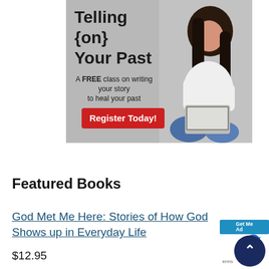[Figure (illustration): Advertisement banner for 'Telling {on} Your Past' — A FREE class on writing your story to heal your past. Features a woman sitting cross-legged with a laptop, on a grey background. Includes a red 'Register Today!' button.]
Featured Books
God Met Me Here: Stories of How God Shows up in Everyday Life
$12.95